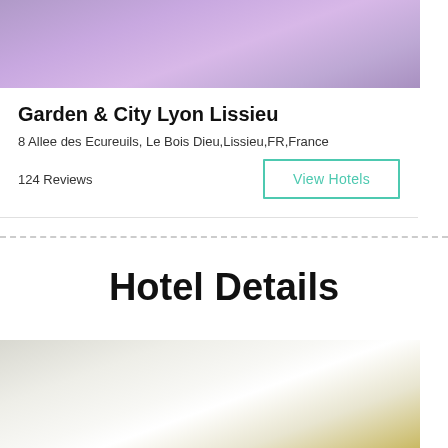[Figure (photo): Hotel room photo showing purple/lavender bedding with a book or item on top]
Garden & City Lyon Lissieu
8 Allee des Ecureuils, Le Bois Dieu,Lissieu,FR,France
124 Reviews
Hotel Details
[Figure (photo): Bright hotel room interior with white curtains and window light]